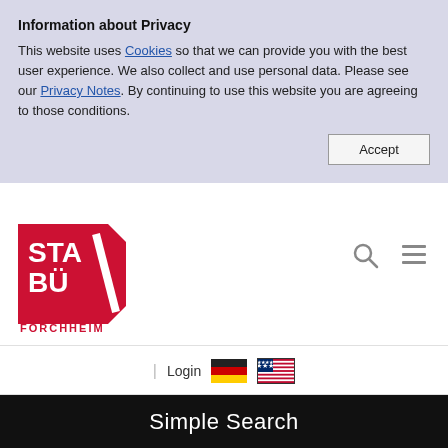Information about Privacy
This website uses Cookies so that we can provide you with the best user experience. We also collect and use personal data. Please see our Privacy Notes. By continuing to use this website you are agreeing to those conditions.
[Figure (logo): STABÜ FORCHHEIM red and white logo mark]
[Figure (other): Search and hamburger menu icons]
| Login
[Figure (illustration): German flag]
[Figure (illustration): American flag]
Simple Search